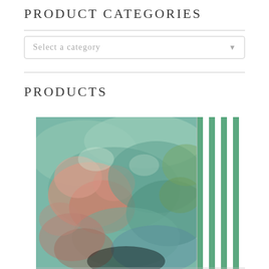PRODUCT CATEGORIES
Select a category
PRODUCTS
[Figure (photo): A product photo showing an abstract impressionist painting with teal, pink, and green tones on the left, and a stack of green and white striped paper/cards on the right.]